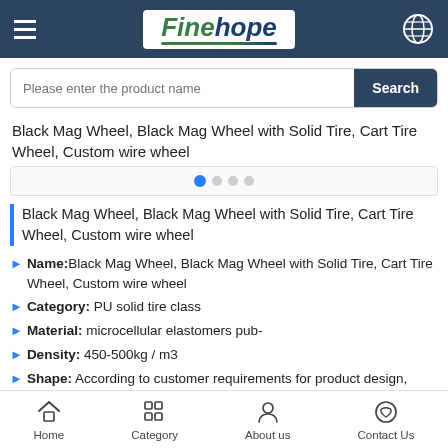[Figure (screenshot): Finehope website header with hamburger menu, logo, and globe icon on dark navy background]
[Figure (screenshot): Search bar with placeholder text 'Please enter the product name' and Search button]
Black Mag Wheel, Black Mag Wheel with Solid Tire, Cart Tire Wheel, Custom wire wheel
[Figure (other): Slider navigation dots with one active blue dot]
Black Mag Wheel, Black Mag Wheel with Solid Tire, Cart Tire Wheel, Custom wire wheel
Name:Black Mag Wheel, Black Mag Wheel with Solid Tire, Cart Tire Wheel, Custom wire wheel
Category: PU solid tire class
Material: microcellular elastomers pub-
Density: 450-500kg / m3
Shape: According to customer requirements for product design,
[Figure (screenshot): Bottom navigation bar with Home, Category, About us, Contact Us icons]